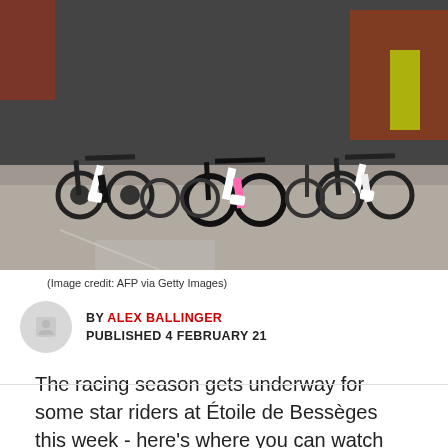[Figure (photo): Cyclists racing, shot from low angle showing legs, bikes and wheels on road surface with spectators in background]
(Image credit: AFP via Getty Images)
BY ALEX BALLINGER
PUBLISHED 4 FEBRUARY 21
The racing season gets underway for some star riders at Étoile de Bessèges this week - here's where you can watch the first major stage race of 2021.